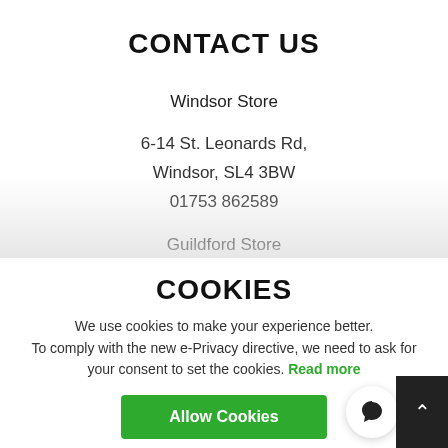CONTACT US
Windsor Store
6-14 St. Leonards Rd, Windsor, SL4 3BW 01753 862589
Guildford Store
COOKIES
We use cookies to make your experience better. To comply with the new e-Privacy directive, we need to ask for your consent to set the cookies. Read more
Allow Cookies